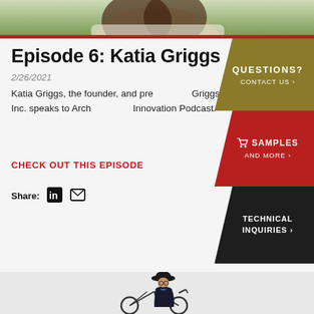[Figure (photo): Top portion of a woman with long dark hair wearing a white sweater, outdoors with green foliage background]
Episode 6: Katia Griggs
2/26/2021
Katia Griggs, the founder, and president of Griggs Systems, Inc. speaks to Architecture + Innovation Podcast.
CHECK OUT THIS EPISODE
Share:
[Figure (infographic): Gold chevron sidebar button: QUESTIONS? CONTACT US >]
[Figure (infographic): Red chevron sidebar button: cart icon SAMPLES AND MORE >]
[Figure (infographic): Dark/black chevron sidebar button: TECHNICAL INQUIRIES >]
[Figure (illustration): Illustrated figure of a man in a dark suit and hat riding a bicycle, bottom portion of the page]